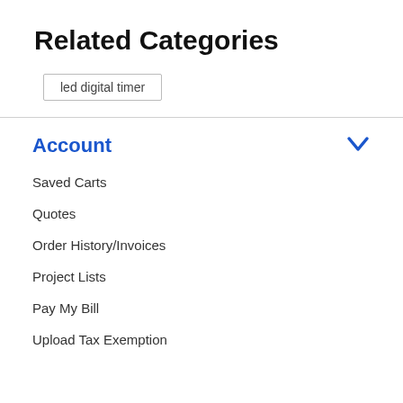Related Categories
led digital timer
Account
Saved Carts
Quotes
Order History/Invoices
Project Lists
Pay My Bill
Upload Tax Exemption